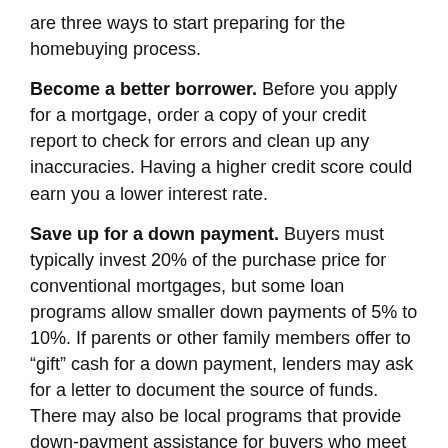are three ways to start preparing for the homebuying process.
Become a better borrower. Before you apply for a mortgage, order a copy of your credit report to check for errors and clean up any inaccuracies. Having a higher credit score could earn you a lower interest rate.
Save up for a down payment. Buyers must typically invest 20% of the purchase price for conventional mortgages, but some loan programs allow smaller down payments of 5% to 10%. If parents or other family members offer to “gift” cash for a down payment, lenders may ask for a letter to document the source of funds. There may also be local programs that provide down-payment assistance for buyers who meet income requirements and take classes on homeownership.
Find out how much you can afford to spend. Start with online calculators that take your income, debt, and